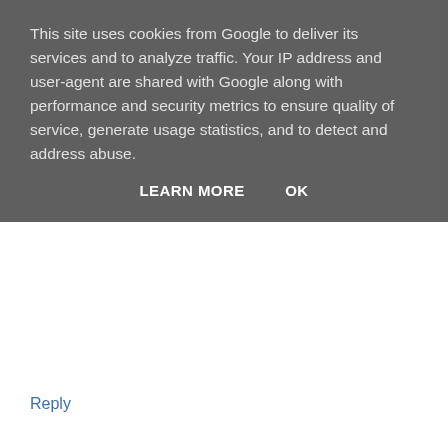This site uses cookies from Google to deliver its services and to analyze traffic. Your IP address and user-agent are shared with Google along with performance and security metrics to ensure quality of service, generate usage statistics, and to detect and address abuse.
LEARN MORE    OK
Reply
m  10 November 2015 at 11:31
Ah! So that's it, I need to buy circular needles!! I've been reading lots of knitting blogs too, but I've been too scared to start... Perhaps this will do the trick!? I don't really like winter either, too wet for the kids to play outside, and they get bored inside, result = fight and tired mummy :) but since you can't stop the seadons we might as well (try to) enjoy them ;)
Reply